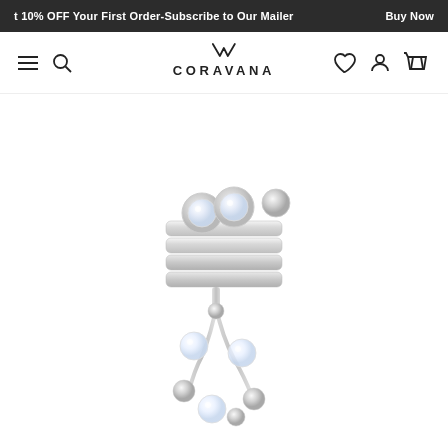t 10% OFF Your First Order-Subscribe to Our Mailer   Buy Now
[Figure (logo): Coravana brand logo with stylized V-mark above text CORAVANA]
[Figure (photo): Silver ear cuff jewelry piece with crystal-set bezel circles on top forming a crown shape, multi-band ring body, and dangling floral/organic branch element with crystal and ball accents below, photographed on white background]